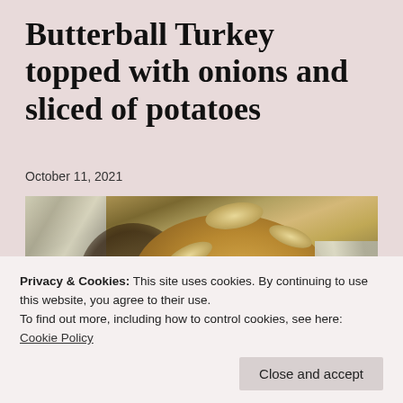Butterball Turkey topped with onions and sliced of potatoes
October 11, 2021
[Figure (photo): A roasted Butterball turkey topped with sliced onions and potato slices, wrapped in aluminum foil in a roasting pan, photographed from above.]
Privacy & Cookies: This site uses cookies. By continuing to use this website, you agree to their use.
To find out more, including how to control cookies, see here: Cookie Policy
Close and accept